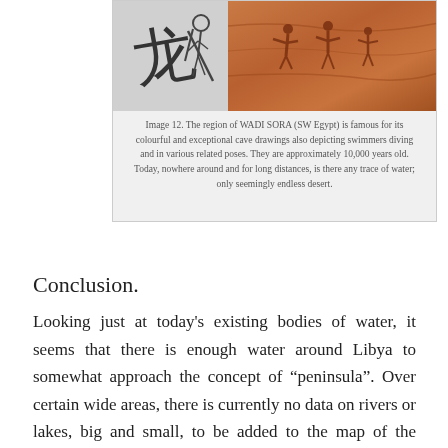[Figure (photo): Two images side by side: left is a black-and-white cave drawing showing human/animal figures; right is an orange-toned rock surface with cave art depicting swimmers and human figures. Part of a figure box about Wadi Sora, SW Egypt.]
Image 12. The region of WADI SORA (SW Egypt) is famous for its colourful and exceptional cave drawings also depicting swimmers diving and in various related poses. They are approximately 10,000 years old. Today, nowhere around and for long distances, is there any trace of water; only seemingly endless desert.
Conclusion.
Looking just at today's existing bodies of water, it seems that there is enough water around Libya to somewhat approach the concept of “peninsula”. Over certain wide areas, there is currently no data on rivers or lakes, big and small, to be added to the map of the “peninsula”. At any rate, for the